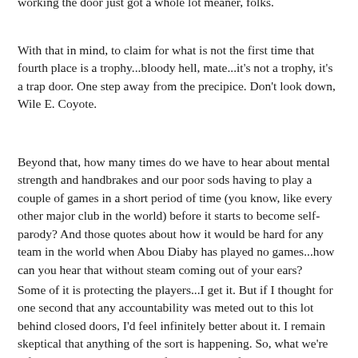working the door just got a whole lot meaner, folks.
With that in mind, to claim for what is not the first time that fourth place is a trophy...bloody hell, mate...it's not a trophy, it's a trap door. One step away from the precipice. Don't look down, Wile E. Coyote.
Beyond that, how many times do we have to hear about mental strength and handbrakes and our poor sods having to play a couple of games in a short period of time (you know, like every other major club in the world) before it starts to become self-parody? And those quotes about how it would be hard for any team in the world when Abou Diaby has played no games...how can you hear that without steam coming out of your ears?
Some of it is protecting the players...I get it. But if I thought for one second that any accountability was meted out to this lot behind closed doors, I'd feel infinitely better about it. I remain skeptical that anything of the sort is happening. So, what we're left with is an increasingly-infuriating reel of soundbites that is poking an already fractured and agitated fanbase with a sharp stick.